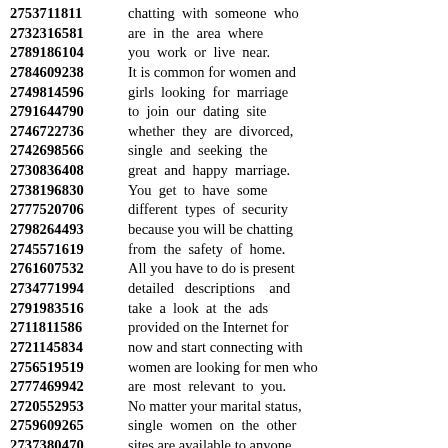2753711811 chatting with someone who
2732316581 are in the area where
2789186104 you work or live near.
2784609238 It is common for women and
2749814596 girls looking for marriage
2791644790 to join our dating site
2746722736 whether they are divorced,
2742698566 single and seeking the
2730836408 great and happy marriage.
2738196830 You get to have some
2777520706 different types of security
2798264493 because you will be chatting
2745571619 from the safety of home.
2761607532 All you have to do is present
2734771994 detailed descriptions and
2791983516 take a look at the ads
2711811586 provided on the Internet for
2721145834 now and start connecting with
2756519519 women are looking for men who
2777469942 are most relevant to you.
2720552953 No matter your marital status,
2759609265 single women on the other
2737380470 sites are available to anyone
2735251297 trying to connect with people.
2793236717 We assure you that we have